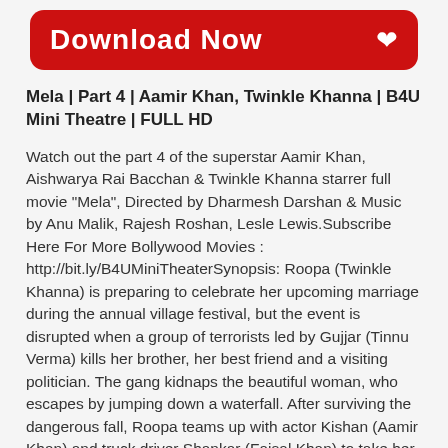[Figure (other): Red rounded rectangle Download Now button with heart/download icon on right]
Mela | Part 4 | Aamir Khan, Twinkle Khanna | B4U Mini Theatre | FULL HD
Watch out the part 4 of the superstar Aamir Khan, Aishwarya Rai Bacchan & Twinkle Khanna starrer full movie "Mela", Directed by Dharmesh Darshan & Music by Anu Malik, Rajesh Roshan, Lesle Lewis.Subscribe Here For More Bollywood Movies : http://bit.ly/B4UMiniTheaterSynopsis: Roopa (Twinkle Khanna) is preparing to celebrate her upcoming marriage during the annual village festival, but the event is disrupted when a group of terrorists led by Gujjar (Tinnu Verma) kills her brother, her best friend and a visiting politician. The gang kidnaps the beautiful woman, who escapes by jumping down a waterfall. After surviving the dangerous fall, Roopa teams up with actor Kishan (Aamir Khan) and truck driver Shankar (Faisal Khan) to take her revenge.Movie Credits:Director : Dharmesh DarshanProducer : Umed JainStarCast(s) : Aamir Khan, Twinkle Khanna, Faisal Khan, Johnny LeverMusic Director : Anu Malik, Rajesh Roshan, Lesle Lewis#Mela #B4U #B4U_Mini_Theater #AamirKhan